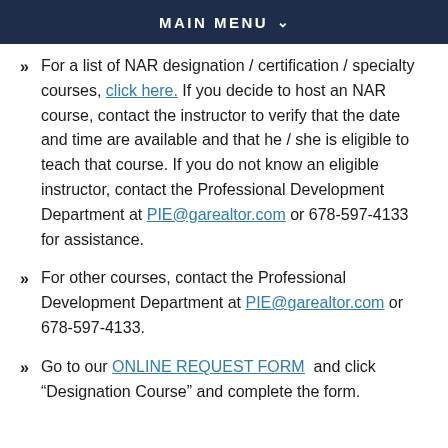MAIN MENU
For a list of NAR designation / certification / specialty courses, click here. If you decide to host an NAR course, contact the instructor to verify that the date and time are available and that he / she is eligible to teach that course. If you do not know an eligible instructor, contact the Professional Development Department at PIE@garealtor.com or 678-597-4133 for assistance.
For other courses, contact the Professional Development Department at PIE@garealtor.com or 678-597-4133.
Go to our ONLINE REQUEST FORM and click "Designation Course" and complete the form.